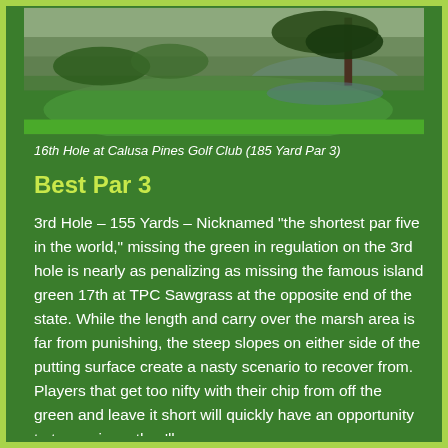[Figure (photo): Aerial/ground-level photo of the 16th hole at Calusa Pines Golf Club, showing a green golf course with water hazard, trees including a large pine, and landscaped surroundings.]
16th Hole at Calusa Pines Golf Club (185 Yard Par 3)
Best Par 3
3rd Hole – 155 Yards – Nicknamed "the shortest par five in the world," missing the green in regulation on the 3rd hole is nearly as penalizing as missing the famous island green 17th at TPC Sawgrass at the opposite end of the state. While the length and carry over the marsh area is far from punishing, the steep slopes on either side of the putting surface create a nasty scenario to recover from. Players that get too nifty with their chip from off the green and leave it short will quickly have an opportunity to try again as they'll